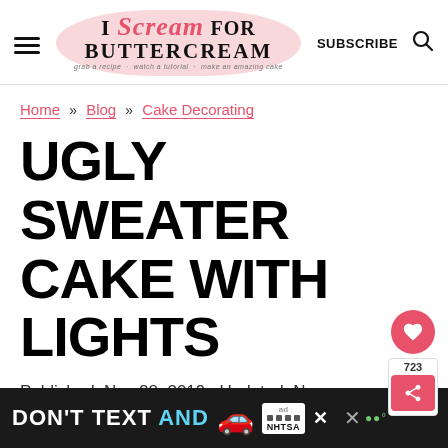I Scream for Buttercream — grab a recipe · watch a tutorial · make an amazing cake | SUBSCRIBE
Home » Blog » Cake Decorating
UGLY SWEATER CAKE WITH LIGHTS
Published: Nov 28, 2019 · Updated: Nov 6, 2021 by Kara · This post may contain affiliate links · This blog generates
[Figure (infographic): Ad banner: DON'T TEXT AND [car emoji] ad · NHTSA, with close buttons]